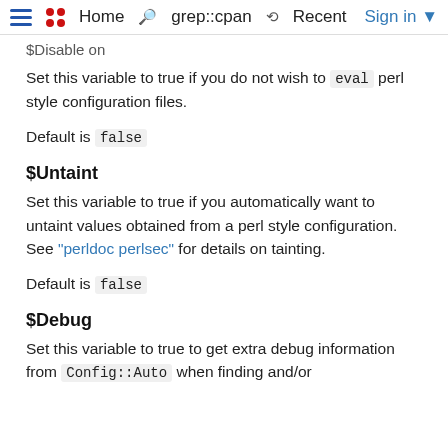$Disable on   Home   grep::cpan   Recent   Sign in
Set this variable to true if you do not wish to eval perl style configuration files.
Default is false
$Untaint
Set this variable to true if you automatically want to untaint values obtained from a perl style configuration. See "perldoc perlsec" for details on tainting.
Default is false
$Debug
Set this variable to true to get extra debug information from Config::Auto when finding and/or